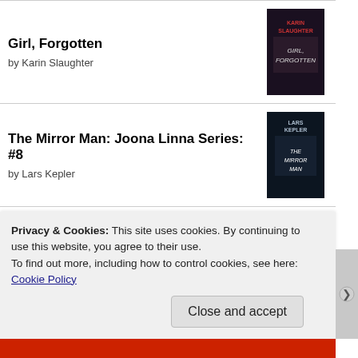Girl, Forgotten by Karin Slaughter
The Mirror Man: Joona Linna Series: #8 by Lars Kepler
Case Histories by Kate Atkinson
An Almost Perfect Holiday by Lucy Diamond
Privacy & Cookies: This site uses cookies. By continuing to use this website, you agree to their use.
To find out more, including how to control cookies, see here: Cookie Policy
Close and accept